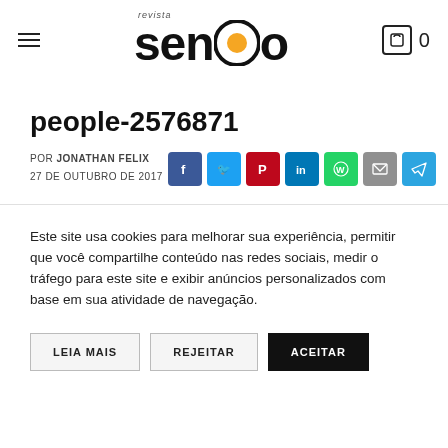revista senso — hamburger menu, cart icon, 0
people-2576871
POR JONATHAN FELIX
27 DE OUTUBRO DE 2017
[Figure (other): Social share buttons: Facebook, Twitter, Pinterest, LinkedIn, WhatsApp, Email, Telegram]
Este site usa cookies para melhorar sua experiência, permitir que você compartilhe conteúdo nas redes sociais, medir o tráfego para este site e exibir anúncios personalizados com base em sua atividade de navegação.
LEIA MAIS   REJEITAR   ACEITAR